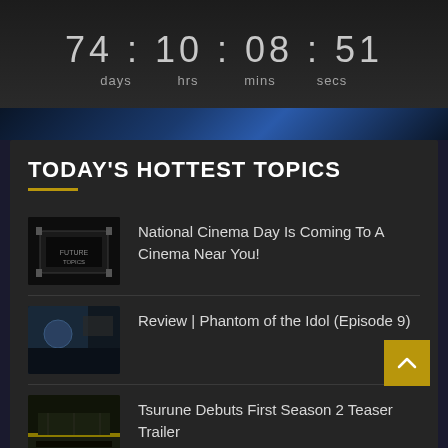[Figure (screenshot): Countdown timer showing 74 days, 10 hours, 08 minutes, 51 seconds on dark background]
TODAY'S HOTTEST TOPICS
National Cinema Day Is Coming To A Cinema Near You!
Review | Phantom of the Idol (Episode 9)
Tsurune Debuts First Season 2 Teaser Trailer
TV Review | The Box